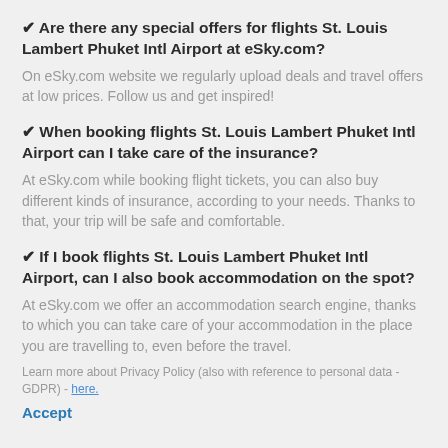✔ Are there any special offers for flights St. Louis Lambert Phuket Intl Airport at eSky.com?
On eSky.com website we regularly upload deals and travel offers at low prices. Follow us and get inspired!
✔ When booking flights St. Louis Lambert Phuket Intl Airport can I take care of the insurance?
At eSky.com while booking flight tickets, you can also buy different kinds of insurance, according to your needs. Thanks to that, your trip will be safe and comfortable.
✔ If I book flights St. Louis Lambert Phuket Intl Airport, can I also book accommodation on the spot?
At eSky.com we offer an accommodation search engine, thanks to which you can take care of your accommodation in the place you are travelling to, even before the travel.
Learn more about Privacy Policy (also with reference to personal data - GDPR) - here.
Accept